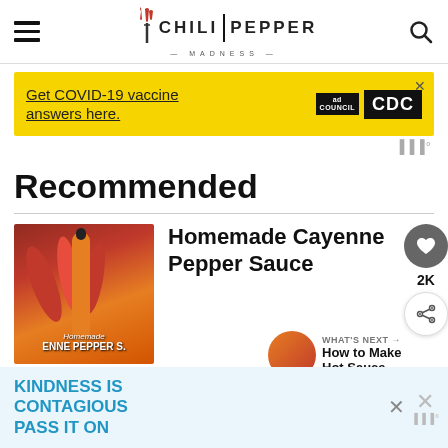Chili Pepper Madness — site header with hamburger menu, logo, and search icon
[Figure (screenshot): Advertisement banner: yellow background, text 'Get COVID-19 vaccine answers here.' with Ad Council and CDC logos, close button]
Recommended
[Figure (photo): Photo of homemade cayenne pepper sauce bottle with red chili peppers, labeled 'Homemade ENNE PEPPER S.']
Homemade Cayenne Pepper Sauce
Read More →
[Figure (screenshot): What's Next panel showing thumbnail of hot sauce with text 'How to Make Hot Sauce -...']
[Figure (screenshot): Bottom advertisement: light blue background, 'KINDNESS IS CONTAGIOUS PASS IT ON' in teal text]